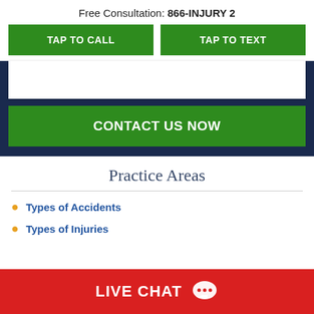Free Consultation: 866-INJURY 2
TAP TO CALL
TAP TO TEXT
CONTACT US NOW
Practice Areas
Types of Accidents
Types of Injuries
LIVE CHAT